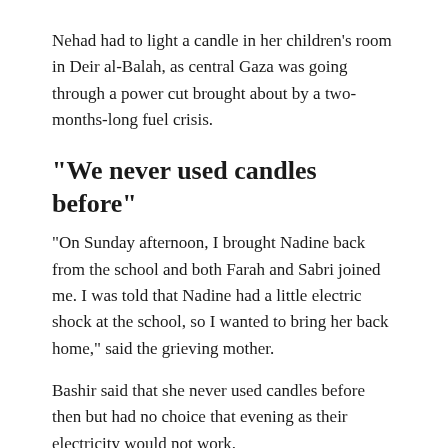Nehad had to light a candle in her children's room in Deir al-Balah, as central Gaza was going through a power cut brought about by a two-months-long fuel crisis.
“We never used candles before”
“On Sunday afternoon, I brought Nadine back from the school and both Farah and Sabri joined me. I was told that Nadine had a little electric shock at the school, so I wanted to bring her back home,” said the grieving mother.
Bashir said that she never used candles before then but had no choice that evening as their electricity would not work.
“They were little kids and they feared the darkness, so I had to keep some light inside their room. On Sunday evening, after I played music on the tape recorder and they danced cheerfully in front of me, I put them all in their room to have